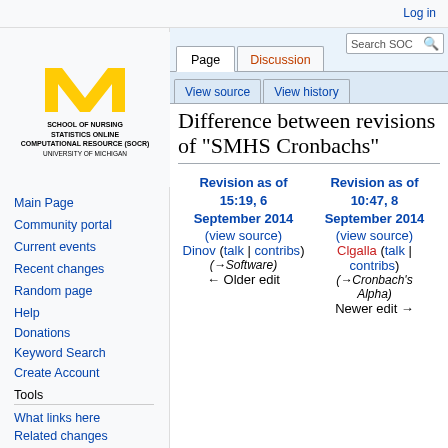Log in
[Figure (logo): University of Michigan School of Nursing Statistics Online Computational Resource (SOCR) logo with yellow M]
Main Page
Community portal
Current events
Recent changes
Random page
Help
Donations
Keyword Search
Create Account
Tools
What links here
Related changes
Special pages
Difference between revisions of "SMHS Cronbachs"
| Revision as of 15:19, 6 September 2014 (view source) | Revision as of 10:47, 8 September 2014 (view source) |
| --- | --- |
| Dinov (talk | contribs) | Clgalla (talk | contribs) |
| (→Software) | (→Cronbach's Alpha) |
| ← Older edit | Newer edit → |